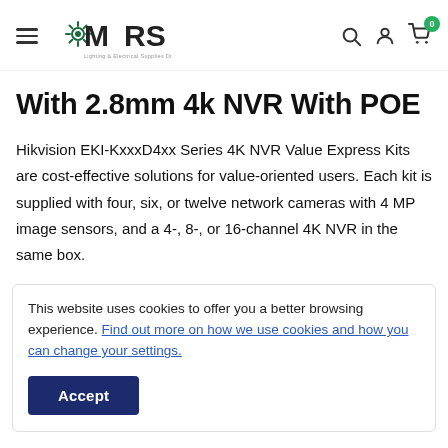MARS Lighting & Electrical Supplies Distribution — navigation header with search, account, and cart icons
With 2.8mm 4k NVR With POE
Hikvision EKI-KxxxD4xx Series 4K NVR Value Express Kits are cost-effective solutions for value-oriented users. Each kit is supplied with four, six, or twelve network cameras with 4 MP image sensors, and a 4-, 8-, or 16-channel 4K NVR in the same box.
This website uses cookies to offer you a better browsing experience. Find out more on how we use cookies and how you can change your settings.